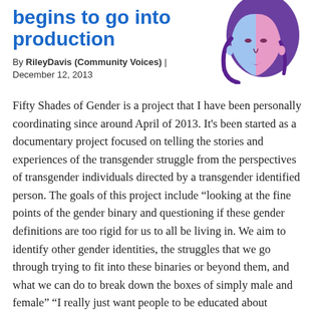begins to go into production
By RileyDavis (Community Voices) | December 12, 2013
[Figure (illustration): Illustrated portrait of a person with blue and pink split coloring on face and purple hair, stylized graphic art style]
Fifty Shades of Gender is a project that I have been personally coordinating since around April of 2013. It's been started as a documentary project focused on telling the stories and experiences of the transgender struggle from the perspectives of transgender individuals directed by a transgender identified person. The goals of this project include “looking at the fine points of the gender binary and questioning if these gender definitions are too rigid for us to all be living in. We aim to identify other gender identities, the struggles that we go through trying to fit into these binaries or beyond them, and what we can do to break down the boxes of simply male and female” “I really just want people to be educated about gender and trans* issues and learn how to treat us with respect and human dignity.  Raising awareness is the first step to changing things.” Says gender-queer identified participant, Ollie Schminkey.There will be discussions